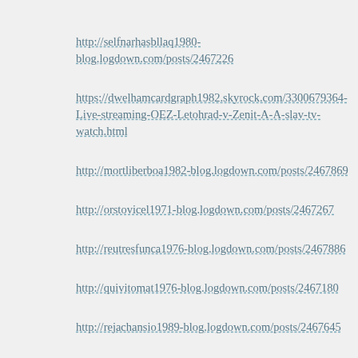http://selfnarhasbllaq1980-blog.logdown.com/posts/2467226
https://dwelhamcardgraph1982.skyrock.com/3300679364-Live-streaming-OEZ-Letohrad-v-Zenit-A-A-slav-tv-watch.html
http://mortliberboa1982-blog.logdown.com/posts/2467869
http://orstovicel1971-blog.logdown.com/posts/2467267
http://reutresfunca1976-blog.logdown.com/posts/2467886
http://quivitomat1976-blog.logdown.com/posts/2467180
http://rejachansio1989-blog.logdown.com/posts/2467645